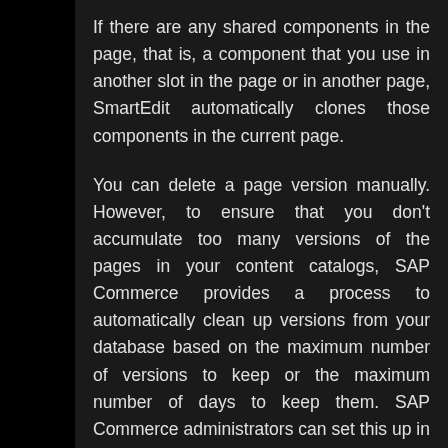If there are any shared components in the page, that is, a component that you use in another slot in the page or in another page, SmartEdit automatically clones those components in the current page.
You can delete a page version manually. However, to ensure that you don't accumulate too many versions of the pages in your content catalogs, SAP Commerce provides a process to automatically clean up versions from your database based on the maximum number of versions to keep or the maximum number of days to keep them. SAP Commerce administrators can set this up in the Backoffice.
If you move a page to trash, all versions of the page are also moved to trash. If you restore a page from trash, all versions that exist for the